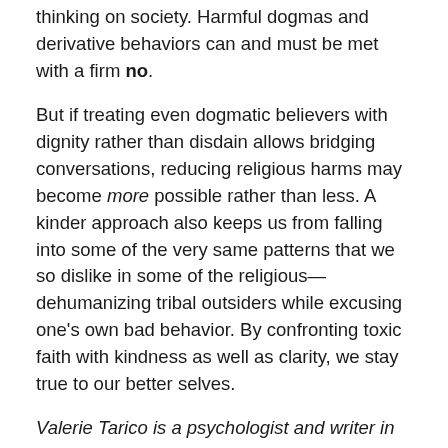thinking on society. Harmful dogmas and derivative behaviors can and must be met with a firm no.
But if treating even dogmatic believers with dignity rather than disdain allows bridging conversations, reducing religious harms may become more possible rather than less. A kinder approach also keeps us from falling into some of the very same patterns that we so dislike in some of the religious—dehumanizing tribal outsiders while excusing one's own bad behavior. By confronting toxic faith with kindness as well as clarity, we stay true to our better selves.
Valerie Tarico is a psychologist and writer in Seattle, Washington. She is the author of Trusting Doubt: A Former Evangelical Looks at Old Beliefs in a New Light and Deas and Other Imaginings, and the founder